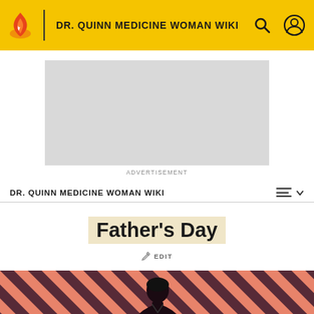DR. QUINN MEDICINE WOMAN WIKI
[Figure (other): Advertisement placeholder gray box]
ADVERTISEMENT
DR. QUINN MEDICINE WOMAN WIKI
Father's Day
EDIT
[Figure (photo): Hero image with diagonal orange and dark stripes background and a person partially visible]